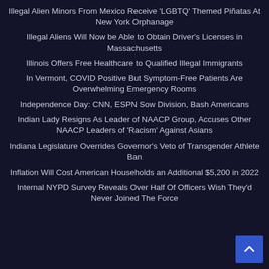Illegal Alien Minors From Mexico Receive ‘LGBTQ’ Themed Piñatas At New York Orphanage
Illegal Aliens Will Now be Able to Obtain Driver’s Licenses in Massachusetts
Illinois Offers Free Healthcare to Qualified Illegal Immigrants
In Vermont, COVID Positive But Symptom-Free Patients Are Overwhelming Emergency Rooms
Independence Day: CNN, ESPN Sow Division, Bash Americans
Indian Lady Resigns As Leader of NAACP Group, Accuses Other NAACP Leaders of ‘Racism’ Against Asians
Indiana Legislature Overrides Governor's Veto of Transgender Athlete Ban
Inflation Will Cost American Households an Additional $5,200 in 2022
Internal NYPD Survey Reveals Over Half Of Officers Wish They’d Never Joined The Force